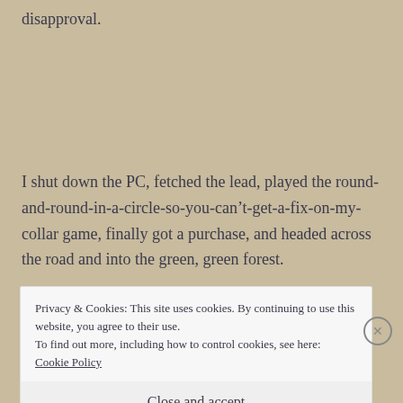disapproval.
I shut down the PC, fetched the lead, played the round-and-round-in-a-circle-so-you-can’t-get-a-fix-on-my-collar game, finally got a purchase, and headed across the road and into the green, green forest.
Privacy & Cookies: This site uses cookies. By continuing to use this website, you agree to their use.
To find out more, including how to control cookies, see here: Cookie Policy
Close and accept